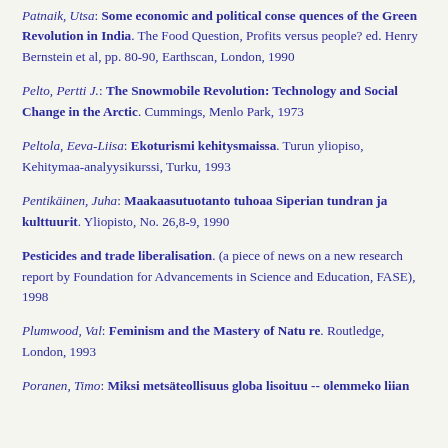Patnaik, Utsa: Some economic and political consequences of the Green Revolution in India. The Food Question, Profits versus people? ed. Henry Bernstein et al, pp. 80-90, Earthscan, London, 1990
Pelto, Pertti J.: The Snowmobile Revolution: Technology and Social Change in the Arctic. Cummings, Menlo Park, 1973
Peltola, Eeva-Liisa: Ekoturismi kehitysmaissa. Turun yliopiso, Kehitymaa-analyysikurssi, Turku, 1993
Pentikäinen, Juha: Maakaasutuotanto tuhoaa Siperian tundran ja kulttuurit. Yliopisto, No. 26,8-9, 1990
Pesticides and trade liberalisation. (a piece of news on a new research report by Foundation for Advancements in Science and Education, FASE), 1998
Plumwood, Val: Feminism and the Mastery of Nature. Routledge, London, 1993
Poranen, Timo: Miksi metsäteollisuus globaliso ituu -- olemmeko liian